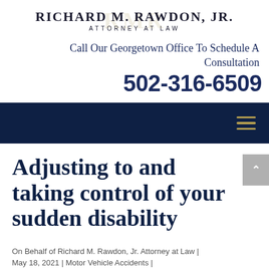Richard M. Rawdon, Jr. Attorney at Law
Call Our Georgetown Office To Schedule A Consultation
502-316-6509
Adjusting to and taking control of your sudden disability
On Behalf of Richard M. Rawdon, Jr. Attorney at Law | May 18, 2021 | Motor Vehicle Accidents |